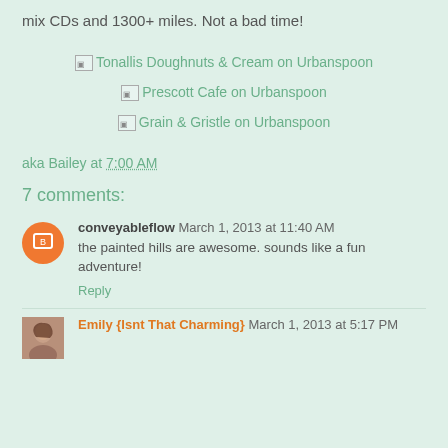mix CDs and 1300+ miles. Not a bad time!
[Figure (other): Three Urbanspoon badge links: Tonallis Doughnuts & Cream on Urbanspoon, Prescott Cafe on Urbanspoon, Grain & Gristle on Urbanspoon]
aka Bailey at 7:00 AM
7 comments:
conveyableflow March 1, 2013 at 11:40 AM
the painted hills are awesome. sounds like a fun adventure!
Reply
Emily {Isnt That Charming} March 1, 2013 at 5:17 PM